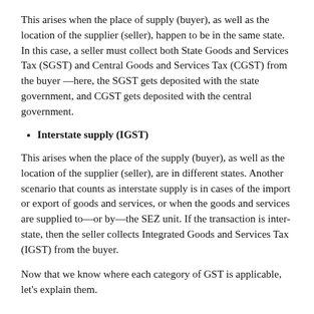This arises when the place of supply (buyer), as well as the location of the supplier (seller), happen to be in the same state. In this case, a seller must collect both State Goods and Services Tax (SGST) and Central Goods and Services Tax (CGST) from the buyer —here, the SGST gets deposited with the state government, and CGST gets deposited with the central government.
Interstate supply (IGST)
This arises when the place of the supply (buyer), as well as the location of the supplier (seller), are in different states. Another scenario that counts as interstate supply is in cases of the import or export of goods and services, or when the goods and services are supplied to—or by—the SEZ unit. If the transaction is inter-state, then the seller collects Integrated Goods and Services Tax (IGST) from the buyer.
Now that we know where each category of GST is applicable, let's explain them.